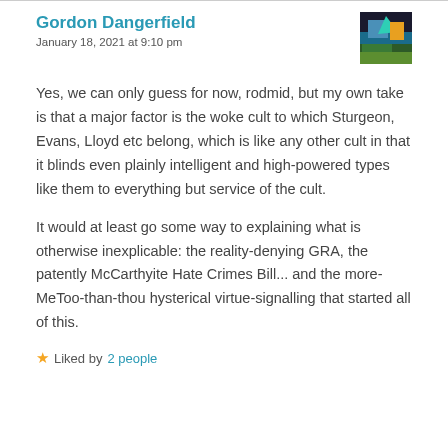Gordon Dangerfield
January 18, 2021 at 9:10 pm
Yes, we can only guess for now, rodmid, but my own take is that a major factor is the woke cult to which Sturgeon, Evans, Lloyd etc belong, which is like any other cult in that it blinds even plainly intelligent and high-powered types like them to everything but service of the cult.
It would at least go some way to explaining what is otherwise inexplicable: the reality-denying GRA, the patently McCarthyite Hate Crimes Bill... and the more-MeToo-than-thou hysterical virtue-signalling that started all of this.
★ Liked by 2 people